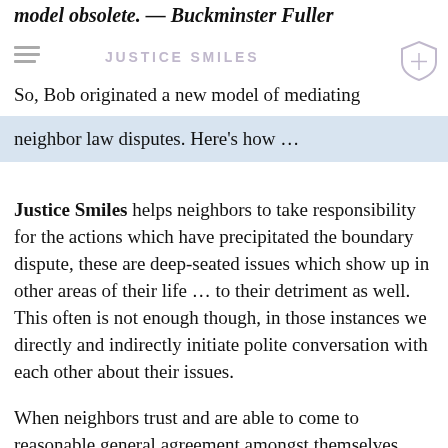model obsolete. — Buckminster Fuller
So, Bob originated a new model of mediating neighbor law disputes. Here's how ...
Justice Smiles helps neighbors to take responsibility for the actions which have precipitated the boundary dispute, these are deep-seated issues which show up in other areas of their life ... to their detriment as well. This often is not enough though, in those instances we directly and indirectly initiate polite conversation with each other about their issues.
When neighbors trust and are able to come to reasonable general agreement amongst themselves, Justice Smiles work is limited to informing how to